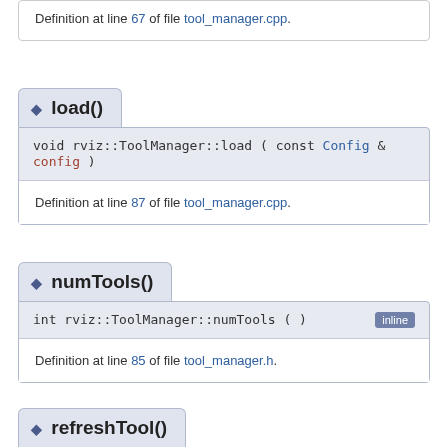Definition at line 67 of file tool_manager.cpp.
load()
void rviz::ToolManager::load ( const Config & config )
Definition at line 87 of file tool_manager.cpp.
numTools()
int rviz::ToolManager::numTools ( ) [inline]
Definition at line 85 of file tool_manager.h.
refreshTool()